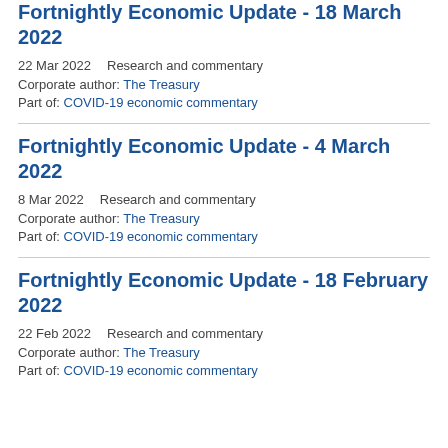Fortnightly Economic Update - 18 March 2022
22 Mar 2022    Research and commentary
Corporate author: The Treasury
Part of: COVID-19 economic commentary
Fortnightly Economic Update - 4 March 2022
8 Mar 2022    Research and commentary
Corporate author: The Treasury
Part of: COVID-19 economic commentary
Fortnightly Economic Update - 18 February 2022
22 Feb 2022    Research and commentary
Corporate author: The Treasury
Part of: COVID-19 economic commentary